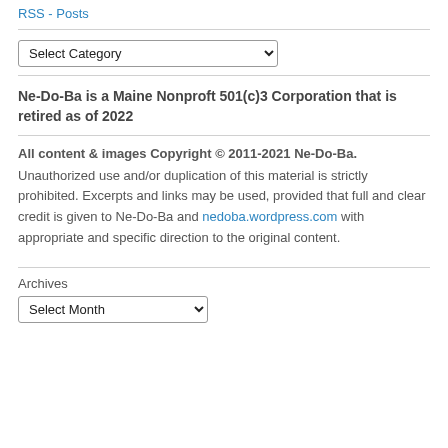RSS - Posts
Select Category
Ne-Do-Ba is a Maine Nonproft 501(c)3 Corporation that is retired as of 2022
All content & images Copyright © 2011-2021 Ne-Do-Ba. Unauthorized use and/or duplication of this material is strictly prohibited. Excerpts and links may be used, provided that full and clear credit is given to Ne-Do-Ba and nedoba.wordpress.com with appropriate and specific direction to the original content.
Archives
Select Month